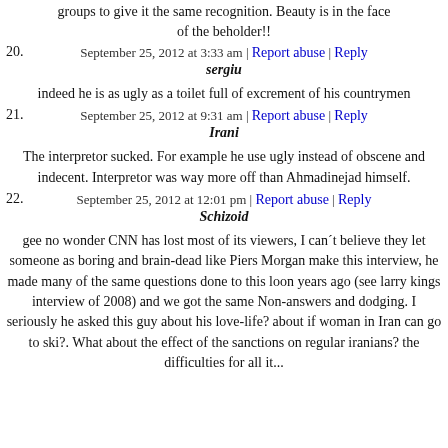groups to give it the same recognition. Beauty is in the face of the beholder!!
September 25, 2012 at 3:33 am | Report abuse | Reply
20. sergiu
indeed he is as ugly as a toilet full of excrement of his countrymen
September 25, 2012 at 9:31 am | Report abuse | Reply
21. Irani
The interpretor sucked. For example he use ugly instead of obscene and indecent. Interpretor was way more off than Ahmadinejad himself.
September 25, 2012 at 12:01 pm | Report abuse | Reply
22. Schizoid
gee no wonder CNN has lost most of its viewers, I can´t believe they let someone as boring and brain-dead like Piers Morgan make this interview, he made many of the same questions done to this loon years ago (see larry kings interview of 2008) and we got the same Non-answers and dodging. I seriously he asked this guy about his love-life? about if woman in Iran can go to ski?. What about the effect of the sanctions on regular iranians? the difficulties for all its...